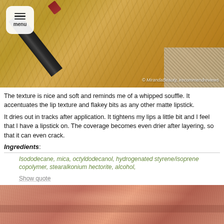[Figure (photo): Lipstick product on gold crinkled foil background with menu button overlay. Watermark: © MirandaBeauty, irecommendreviews]
The texture is nice and soft and reminds me of a whipped souffle. It accentuates the lip texture and flakey bits as any other matte lipstick.
It dries out in tracks after application. It tightens my lips a little bit and I feel that I have a lipstick on. The coverage becomes even drier after layering, so that it can even crack.
Ingredients:
Isododecane, mica, octyldodecanol, hydrogenated styrene/isoprene copolymer, stearalkonium hectorite, alcohol,
Show quote
[Figure (photo): Close-up macro photo of lips wearing a pinkish-rose matte lipstick showing fine lip texture lines]